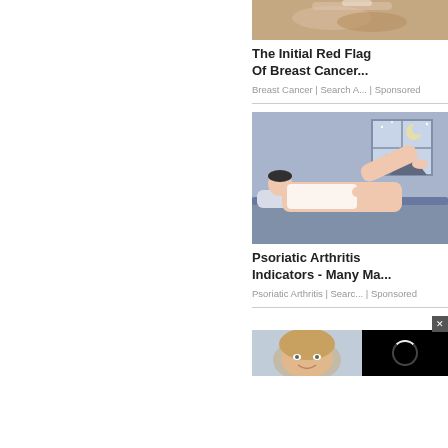[Figure (photo): Cropped photo of hands, partially visible at top of card]
The Initial Red Flag Of Breast Cancer...
Breast Cancer | Search A... | Sponsored
[Figure (illustration): Illustration of a person lying in bed at night near a window with a moon visible, suggesting sleep disturbance]
Psoriatic Arthritis Indicators - Many Ma...
Psoriatic Arthritis | Searc... | Sponsored
[Figure (photo): Partial view of a smiling woman alongside a video player overlay with loading spinner and a close button]